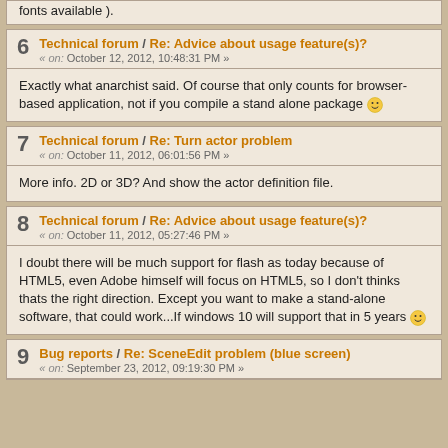fonts available ).
6 Technical forum / Re: Advice about usage feature(s)? « on: October 12, 2012, 10:48:31 PM »
Exactly what anarchist said. Of course that only counts for browser-based application, not if you compile a stand alone package 🙂
7 Technical forum / Re: Turn actor problem « on: October 11, 2012, 06:01:56 PM »
More info. 2D or 3D? And show the actor definition file.
8 Technical forum / Re: Advice about usage feature(s)? « on: October 11, 2012, 05:27:46 PM »
I doubt there will be much support for flash as today because of HTML5, even Adobe himself will focus on HTML5, so I don't thinks thats the right direction. Except you want to make a stand-alone software, that could work...If windows 10 will support that in 5 years 🙂
9 Bug reports / Re: SceneEdit problem (blue screen) « on: September 23, 2012, 09:19:30 PM »